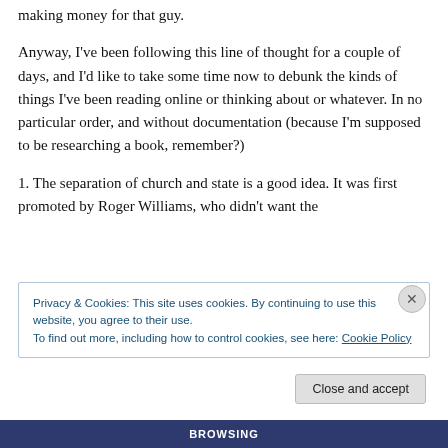making money for that guy.
Anyway, I've been following this line of thought for a couple of days, and I'd like to take some time now to debunk the kinds of things I've been reading online or thinking about or whatever. In no particular order, and without documentation (because I'm supposed to be researching a book, remember?)
1. The separation of church and state is a good idea. It was first promoted by Roger Williams, who didn't want the
Privacy & Cookies: This site uses cookies. By continuing to use this website, you agree to their use.
To find out more, including how to control cookies, see here: Cookie Policy
Close and accept